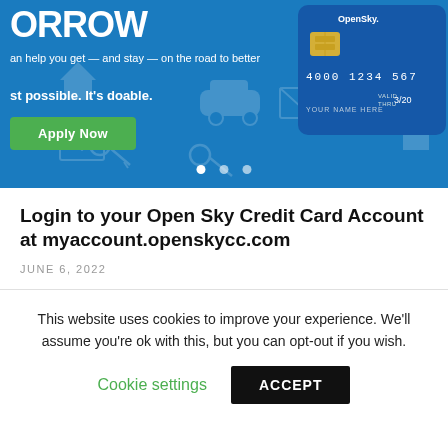[Figure (screenshot): OpenSky credit card promotional banner with blue background, partial text 'ORROW' (BORROW/TOMORROW), 'can help you get — and stay — on the road to better', 'st possible. It's doable.', green 'Apply Now' button, credit card image showing number 4000 1234 567, YOUR NAME HERE, slider dots at bottom]
Login to your Open Sky Credit Card Account at myaccount.openskycc.com
JUNE 6, 2022
This website uses cookies to improve your experience. We'll assume you're ok with this, but you can opt-out if you wish.